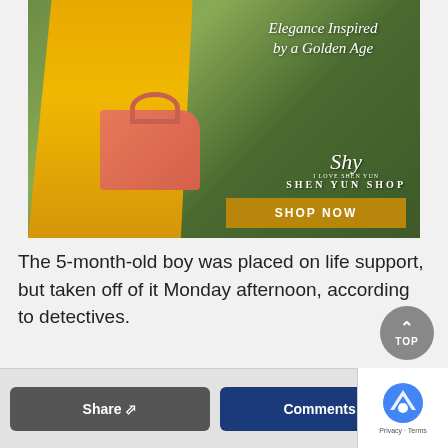[Figure (photo): Advertisement for Shen Yun Shop showing a woman in a yellow pleated dress holding a salmon-colored handbag, standing outdoors in a garden setting. Text reads 'Elegance Inspired by a Golden Age' with 'SHEN YUN SHOP' branding and a gold 'SHOP NOW' button.]
The 5-month-old boy was placed on life support, but taken off of it Monday afternoon, according to detectives.
[Figure (other): Gray circular TOP button with upward arrow]
[Figure (other): Footer bar with Share button (gray), Comments button (dark blue), and reCAPTCHA widget with Privacy and Terms links]